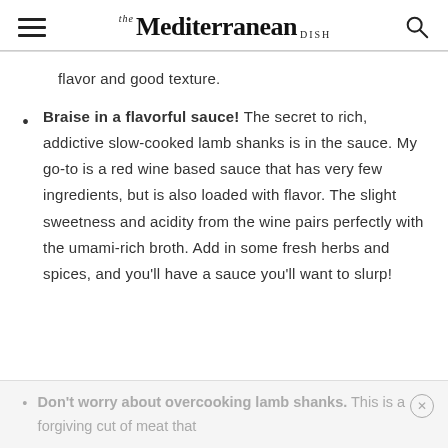THE Mediterranean DISH
flavor and good texture.
Braise in a flavorful sauce! The secret to rich, addictive slow-cooked lamb shanks is in the sauce. My go-to is a red wine based sauce that has very few ingredients, but is also loaded with flavor. The slight sweetness and acidity from the wine pairs perfectly with the umami-rich broth. Add in some fresh herbs and spices, and you'll have a sauce you'll want to slurp!
Don't worry about overcooking lamb shanks. This is a forgiving cut of meat that